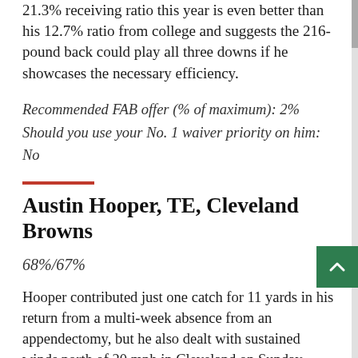21.3% receiving ratio this year is even better than his 12.7% ratio from college and suggests the 216-pound back could play all three downs if he showcases the necessary efficiency.
Recommended FAB offer (% of maximum): 2%
Should you use your No. 1 waiver priority on him: No
Austin Hooper, TE, Cleveland Browns
68%/67%
Hooper contributed just one catch for 11 yards in his return from a multi-week absence from an appendectomy, but he also dealt with sustained winds north of 20 mph in Cleveland on Sunday. Baker Mayfield only threw 20 passes. As such, I'm more interested in Hooper's 85% offensive snap share that I think indicates he's set to fully